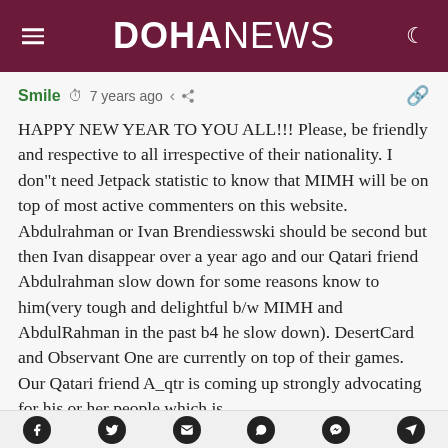DOHANEWS
Smile  7 years ago
HAPPY NEW YEAR TO YOU ALL!!! Please, be friendly and respective to all irrespective of their nationality. I don”t need Jetpack statistic to know that MIMH will be on top of most active commenters on this website. Abdulrahman or Ivan Brendiesswski should be second but then Ivan disappear over a year ago and our Qatari friend Abdulrahman slow down for some reasons know to him(very tough and delightful b/w MIMH and AbdulRahman in the past b4 he slow down). DesertCard and Observant One are currently on top of their games. Our Qatari friend A_qtr is coming up strongly advocating for his or her people which is
Social share icons: Facebook, Twitter, Email, WhatsApp, Messenger, Telegram